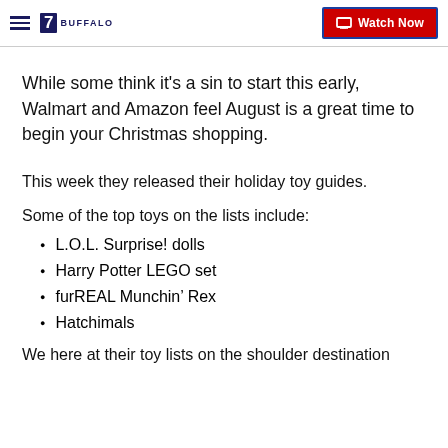7 BUFFALO | Watch Now
While some think it's a sin to start this early, Walmart and Amazon feel August is a great time to begin your Christmas shopping.
This week they released their holiday toy guides.
Some of the top toys on the lists include:
L.O.L. Surprise! dolls
Harry Potter LEGO set
furREAL Munchin’ Rex
Hatchimals
We here at their toy lists on the shoulder destination